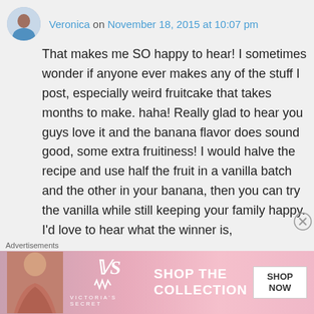Veronica on November 18, 2015 at 10:07 pm
That makes me SO happy to hear! I sometimes wonder if anyone ever makes any of the stuff I post, especially weird fruitcake that takes months to make. haha! Really glad to hear you guys love it and the banana flavor does sound good, some extra fruitiness! I would halve the recipe and use half the fruit in a vanilla batch and the other in your banana, then you can try the vanilla while still keeping your family happy. I'd love to hear what the winner is,
Advertisements
[Figure (photo): Victoria's Secret advertisement banner showing a model with text 'SHOP THE COLLECTION' and 'SHOP NOW' button]